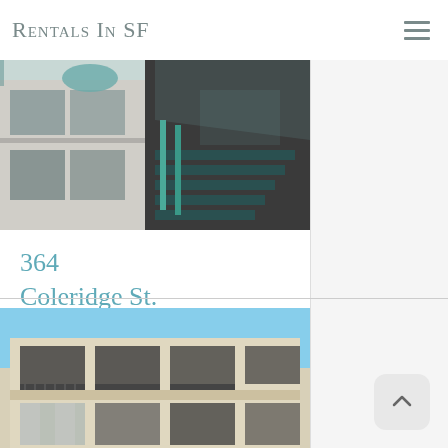Rentals In SF
[Figure (photo): Photo of a building at 364 Coleridge St. showing a Victorian-style facade with stairs and decorative ceiling detail.]
364 Coleridge St.
[Figure (photo): Photo of a multi-story apartment building exterior with balconies and large windows, beige/cream colored stucco facade against blue sky.]